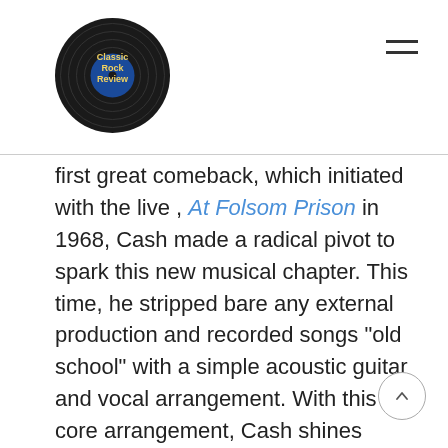Classic Rock Review
first great comeback, which initiated with the live , At Folsom Prison in 1968, Cash made a radical pivot to spark this new musical chapter. This time, he stripped bare any external production and recorded songs “old school” with a simple acoustic guitar and vocal arrangement. With this core arrangement, Cash shines brightest and the listener is struck by how one man and one guitar can still fill the sonic universe at that moment with utter beauty and creativity.

After a successful stretch through the 1970s where he expanded beyond